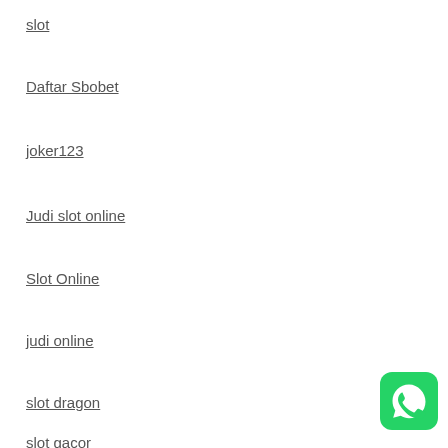slot
Daftar Sbobet
joker123
Judi slot online
Slot Online
judi online
slot dragon
slot gacor
[Figure (logo): WhatsApp icon button - green rounded square with white phone/chat icon]